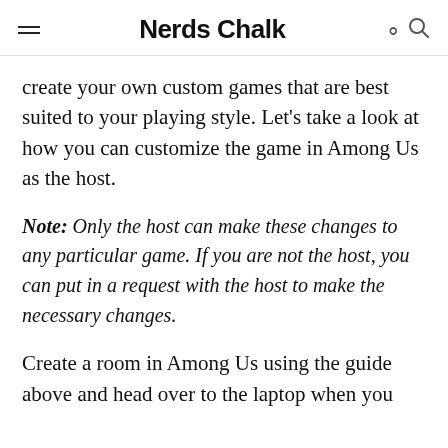Nerds Chalk
create your own custom games that are best suited to your playing style. Let's take a look at how you can customize the game in Among Us as the host.
Note: Only the host can make these changes to any particular game. If you are not the host, you can put in a request with the host to make the necessary changes.
Create a room in Among Us using the guide above and head over to the laptop when you